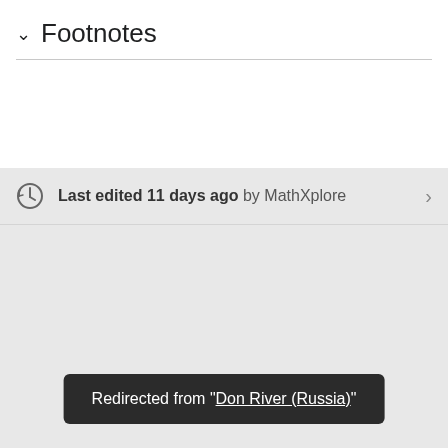∨ Footnotes
Last edited 11 days ago by MathXplore
Redirected from "Don River (Russia)"